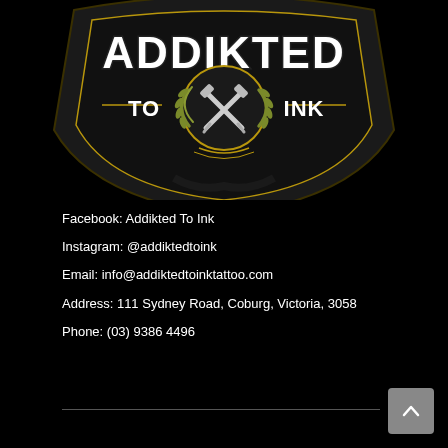[Figure (logo): Addikted To Ink tattoo studio logo — shield shaped emblem with stylized text 'ADDIKTED' at top in white, 'TO INK' in the middle with crossed tattoo machines and a laurel wreath on a dark background with gold accents]
Facebook: Addikted To Ink
Instagram: @addiktedtoink
Email: info@addiktedtoinktattoo.com
Address: 111 Sydney Road, Coburg, Victoria, 3058
Phone: (03) 9386 4496